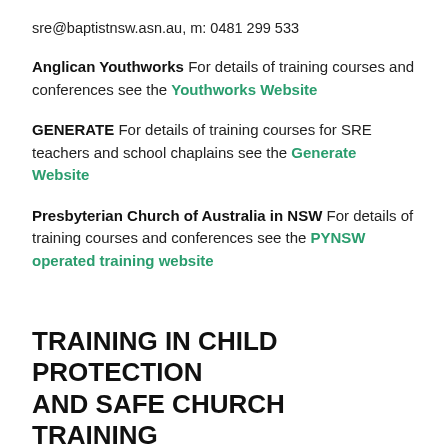sre@baptistnsw.asn.au, m: 0481 299 533
Anglican Youthworks For details of training courses and conferences see the Youthworks Website
GENERATE For details of training courses for SRE teachers and school chaplains see the Generate Website
Presbyterian Church of Australia in NSW For details of training courses and conferences see the PYNSW operated training website
TRAINING IN CHILD PROTECTION AND SAFE CHURCH TRAINING
National Council of Churches in Australia (NCCA) Safe